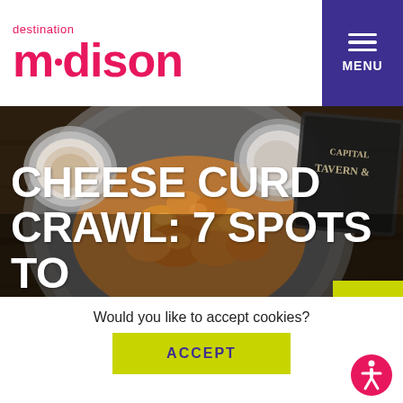[Figure (logo): Destination Madison logo — red rounded text 'destination madison' with dot accent]
[Figure (photo): Overhead photo of fried cheese curds in a metal bowl with dipping sauces on a dark wood table, with Capital Tavern signage visible in background]
CHEESE CURD CRAWL: 7 SPOTS TO GET YOUR FRIED FIX
Would you like to accept cookies?
ACCEPT